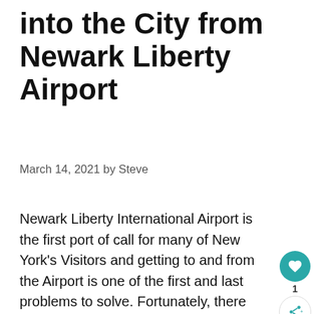into the City from Newark Liberty Airport
March 14, 2021 by Steve
Newark Liberty International Airport is the first port of call for many of New York's Visitors and getting to and from the Airport is one of the first and last problems to solve. Fortunately, there are plenty of different options for transportation from Newark Airport to Manhattan. There are good choices for every type of person and budget Here are some of your options